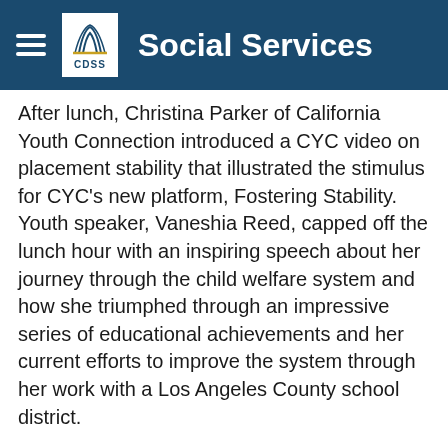Social Services
After lunch, Christina Parker of California Youth Connection introduced a CYC video on placement stability that illustrated the stimulus for CYC's new platform, Fostering Stability. Youth speaker, Vaneshia Reed, capped off the lunch hour with an inspiring speech about her journey through the child welfare system and how she triumphed through an impressive series of educational achievements and her current efforts to improve the system through her work with a Los Angeles County school district.
Three break-out sessions were held through-out the day focusing on different aspects of the conference's theme of promoting physical, mental and social wellbeing.  Workshops were held on topics involving mental health, housing, education, tax preparation, and many more.  A